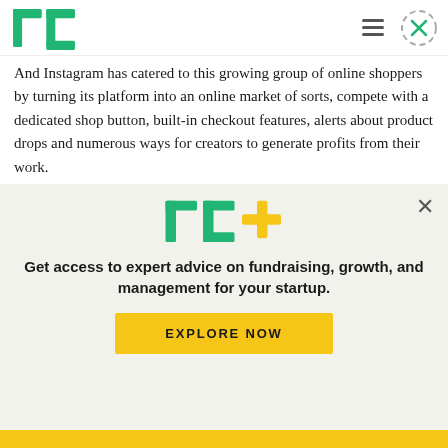TechCrunch
And Instagram has catered to this growing group of online shoppers by turning its platform into an online market of sorts, compete with a dedicated shop button, built-in checkout features, alerts about product drops and numerous ways for creators to generate profits from their work.
Now that influencer shopping is the norm, the race
[Figure (logo): TechCrunch TC+ logo in green and yellow]
Get access to expert advice on fundraising, growth, and management for your startup.
EXPLORE NOW